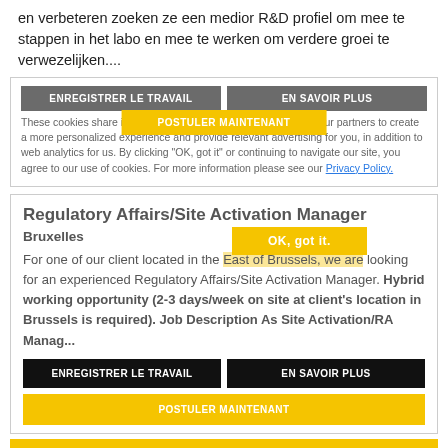en verbeteren zoeken ze een medior R&D profiel om mee te stappen in het labo en mee te werken om verdere groei te verwezelijken....
We ENREGISTRER LE TRAVAIL liest experience po EN SAVOIR PLUS site. These cookies share information about your use of our site with our partners to create a more POSTULER MAINTENANT and provide relevant advertising for you, in addition to web analytics for us. By clicking "OK, got it" or continuing to navigate our site, you agree to our use of cookies. For more information please see our Privacy Policy.
Regulatory Affairs/Site Activation Manager
Bruxelles
For one of our client located in the East of Brussels, we are looking for an experienced Regulatory Affairs/Site Activation Manager. Hybrid working opportunity (2-3 days/week on site at client's location in Brussels is required). Job Description As Site Activation/RA Manag...
ENREGISTRER LE TRAVAIL
EN SAVOIR PLUS
POSTULER MAINTENANT
AFFINER VOTRE RECHERCHE
ENTREPRISE BASÉE
Bruxe...